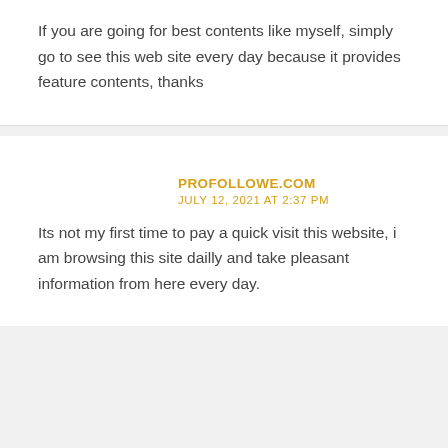If you are going for best contents like myself, simply go to see this web site every day because it provides feature contents, thanks
PROFOLLOWE.COM
JULY 12, 2021 AT 2:37 PM
Its not my first time to pay a quick visit this website, i am browsing this site dailly and take pleasant information from here every day.